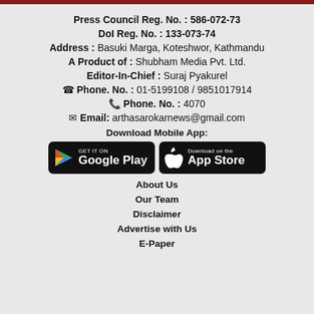Press Council Reg. No. : 586-072-73
DoI Reg. No. : 133-073-74
Address : Basuki Marga, Koteshwor, Kathmandu
A Product of : Shubham Media Pvt. Ltd.
Editor-In-Chief : Suraj Pyakurel
Phone. No. : 01-5199108 / 9851017914
Phone. No. : 4070
Email: arthasarokarnews@gmail.com
Download Mobile App:
[Figure (logo): Google Play Store and Apple App Store download buttons]
About Us
Our Team
Disclaimer
Advertise with Us
E-Paper